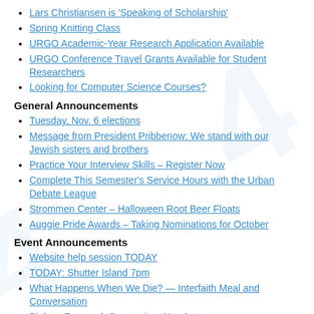Lars Christiansen is 'Speaking of Scholarship'
Spring Knitting Class
URGO Academic-Year Research Application Available
URGO Conference Travel Grants Available for Student Researchers
Looking for Computer Science Courses?
General Announcements
Tuesday, Nov. 6 elections
Message from President Pribbenow: We stand with our Jewish sisters and brothers
Practice Your Interview Skills – Register Now
Complete This Semester's Service Hours with the Urban Debate League
Strommen Center – Halloween Root Beer Floats
Auggie Pride Awards – Taking Nominations for October
Event Announcements
Website help session TODAY
TODAY: Shutter Island 7pm
What Happens When We Die? — Interfaith Meal and Conversation
Biology Research Symposium Nov 1st